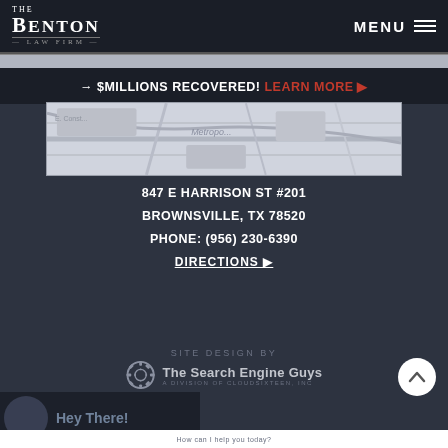THE BENTON LAW FIRM | MENU
→ $MILLIONS RECOVERED! LEARN MORE ▶
[Figure (map): Street map showing area near 847 E Harrison St, Brownsville TX]
847 E HARRISON ST #201
BROWNSVILLE, TX 78520
PHONE: (956) 230-6390
DIRECTIONS ▶
SITE DESIGN BY
[Figure (logo): The Search Engine Guys - A Division of Cloudsixteen, Inc logo with gear icon]
Hey There!